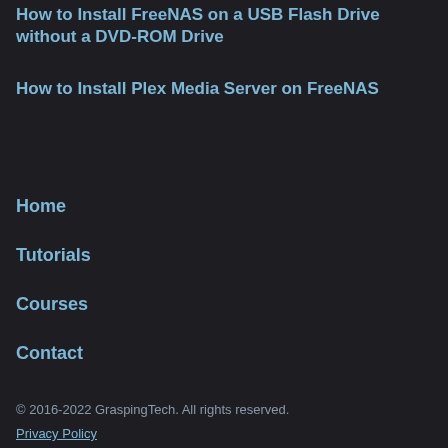How to Install FreeNAS on a USB Flash Drive without a DVD-ROM Drive
How to Install Plex Media Server on FreeNAS
Home
Tutorials
Courses
Contact
© 2016-2022 GraspingTech. All rights reserved.
Privacy Policy